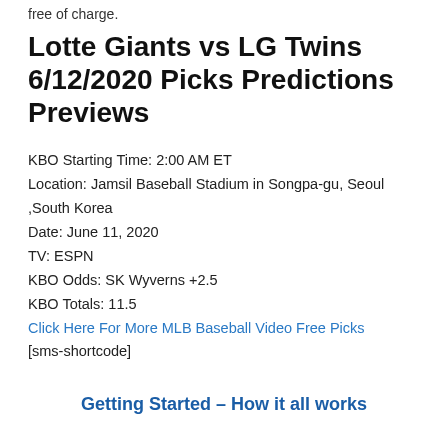free of charge.
Lotte Giants vs LG Twins 6/12/2020 Picks Predictions Previews
KBO Starting Time: 2:00 AM ET
Location: Jamsil Baseball Stadium in Songpa-gu, Seoul ,South Korea
Date: June 11, 2020
TV: ESPN
KBO Odds: SK Wyverns +2.5
KBO Totals: 11.5
Click Here For More MLB Baseball Video Free Picks
[sms-shortcode]
Getting Started – How it all works